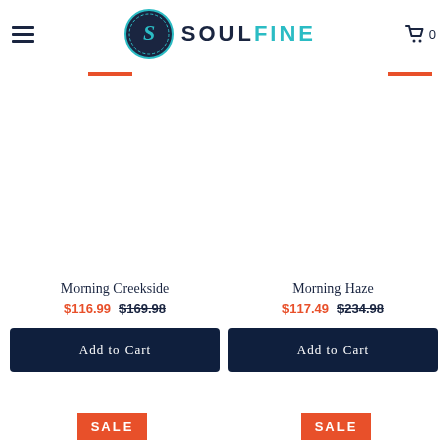[Figure (logo): SoulFine logo with circular S emblem and SOULFINE text]
Morning Creekside
$116.99  $169.98
Add to Cart
Morning Haze
$117.49  $234.98
Add to Cart
SALE
SALE